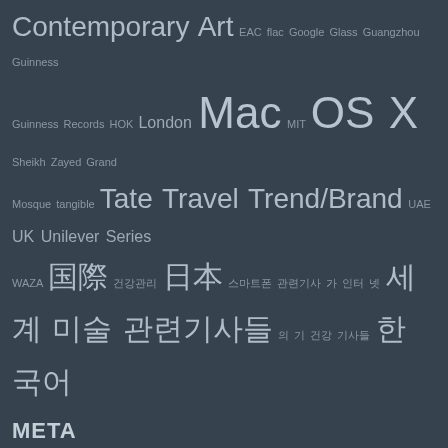Contemporary Art EAC flac Google Glass Guangzhou Guinness Guinness Records HOK London Mac MIT OS X Sheikh Zayed Grand Mosque tangible Tate Travel Trend/Brand UAE UK Unilever Series WAZA [CJK characters tag cloud]
META
Log in
Entries feed
Comments feed
WordPress.org